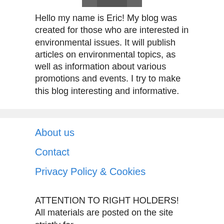[Figure (photo): Partial photo of a person (Eric), cropped at bottom of visible area at top of page]
Hello my name is Eric! My blog was created for those who are interested in environmental issues. It will publish articles on environmental topics, as well as information about various promotions and events. I try to make this blog interesting and informative.
About us
Contact
Privacy Policy & Cookies
ATTENTION TO RIGHT HOLDERS! All materials are posted on the site strictly for